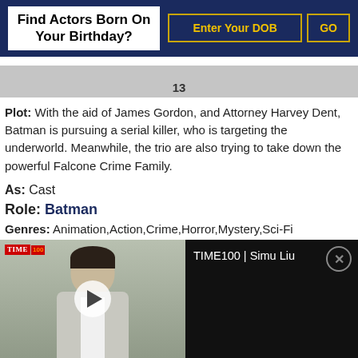Find Actors Born On Your Birthday?
13
Plot: With the aid of James Gordon, and Attorney Harvey Dent, Batman is pursuing a serial killer, who is targeting the underworld. Meanwhile, the trio are also trying to take down the powerful Falcone Crime Family.
As: Cast
Role: Batman
Genres: Animation,Action,Crime,Horror,Mystery,Sci-Fi
Star Cast: Naya Rivera, Troy Baker, Josh Duhamel
[Figure (screenshot): Video player showing TIME100 | Simu Liu with a man in a suit, play button overlay, TIME100 badge in top left, and close button on right side]